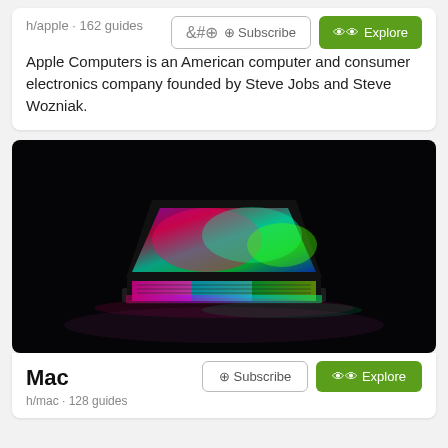h/apple · 162 guides
Apple Computers is an American computer and consumer electronics company founded by Steve Jobs and Steve Wozniak.
[Figure (photo): A MacBook laptop with a colorful RGB-lit keyboard open on a dark background, viewed from a low angle, with vivid colors reflecting below.]
Mac
h/mac · 128 guides